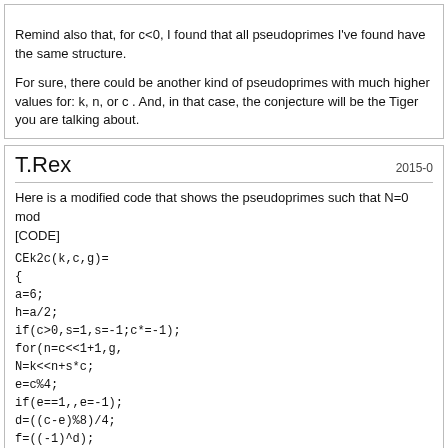Remind also that, for c<0, I found that all pseudoprimes I've found have the same structure.

For sure, there could be another kind of pseudoprimes with much higher values for: k, n, or c . And, in that case, the conjecture will be the Tiger you are talking about.
T.Rex
2015-0
Here is a modified code that shows the pseudoprimes such that N=0 mod [CODE]
CEk2c(k,c,g)=
{
a=6;
h=a/2;
if(c>0,s=1,s=-1;c*=-1);
for(n=c<<1+1,g,
N=k<<n+s*c;
e=c%4;
if(e==1,,e=-1);
d=((c-e)%8)/4;
f=((-1)^d);
B=f*s;
A=(c-B)/2;
s0=Mod(polchebyshev(k,1,h)<<1,N);
sn=Mod(f*polchebyshev(A,1,h)<<1,N);
my(s=s0);
z=0;